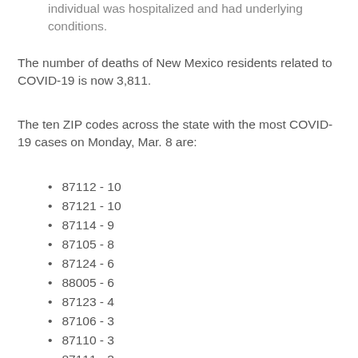individual was hospitalized and had underlying conditions.
The number of deaths of New Mexico residents related to COVID-19 is now 3,811.
The ten ZIP codes across the state with the most COVID-19 cases on Monday, Mar. 8 are:
87112 - 10
87121 - 10
87114 - 9
87105 - 8
87124 - 6
88005 - 6
87123 - 4
87106 - 3
87110 - 3
87111 - 3
Daily case counts and test numbers are raw data based on information the state receives today - meaning data